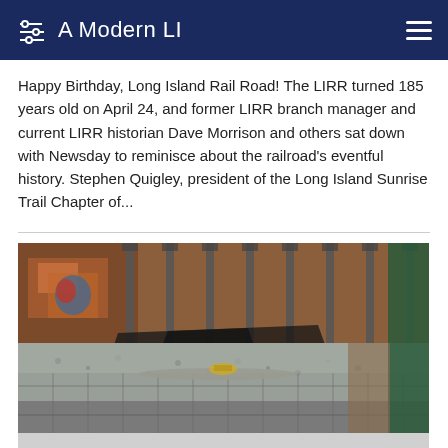A Modern LI
Happy Birthday, Long Island Rail Road! The LIRR turned 185 years old on April 24, and former LIRR branch manager and current LIRR historian Dave Morrison and others sat down with Newsday to reminisce about the railroad's eventful history. Stephen Quigley, president of the Long Island Sunrise Trail Chapter of...
[Figure (photo): Construction site photograph showing a rail corridor under renovation with gravel ballast bed, concrete retaining wall blocks, steel H-piles in background, and construction materials along the trackway.]